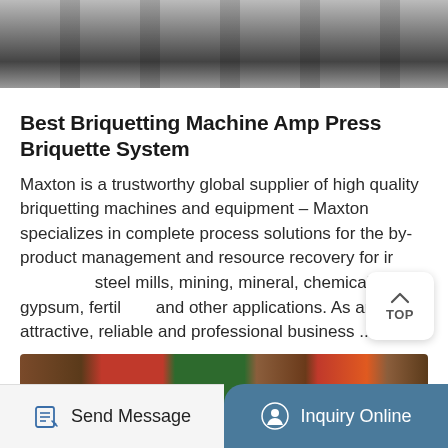[Figure (photo): Industrial briquetting machine equipment, dark metallic machinery on light background]
Best Briquetting Machine Amp Press Briquette System
Maxton is a trustworthy global supplier of high quality briquetting machines and equipment – Maxton specializes in complete process solutions for the by-product management and resource recovery for iron steel mills, mining, mineral, chemical, gypsum, fertilizer and other applications. As an attractive, reliable and professional business ...
More Details
[Figure (photo): Industrial briquetting press machines, red and green equipment in warehouse]
Send Message | Inquiry Online